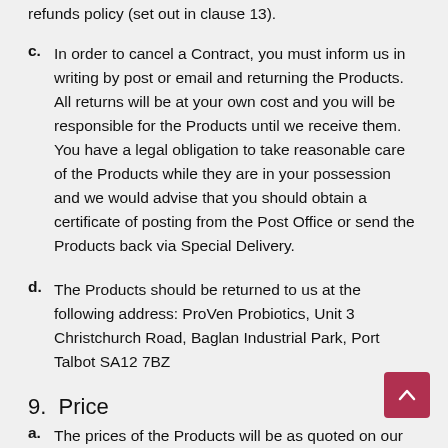refunds policy (set out in clause 13).
c.  In order to cancel a Contract, you must inform us in writing by post or email and returning the Products. All returns will be at your own cost and you will be responsible for the Products until we receive them. You have a legal obligation to take reasonable care of the Products while they are in your possession and we would advise that you should obtain a certificate of posting from the Post Office or send the Products back via Special Delivery.
d.  The Products should be returned to us at the following address: ProVen Probiotics, Unit 3 Christchurch Road, Baglan Industrial Park, Port Talbot SA12 7BZ
9.  Price
a.  The prices of the Products will be as quoted on our site from time to time. We take all reasonable care to ensure that the